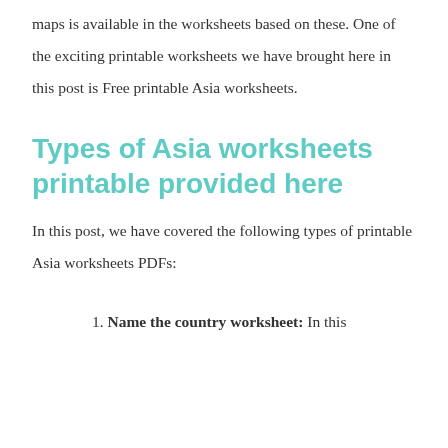maps is available in the worksheets based on these. One of the exciting printable worksheets we have brought here in this post is Free printable Asia worksheets.
Types of Asia worksheets printable provided here
In this post, we have covered the following types of printable Asia worksheets PDFs:
1. Name the country worksheet: In this